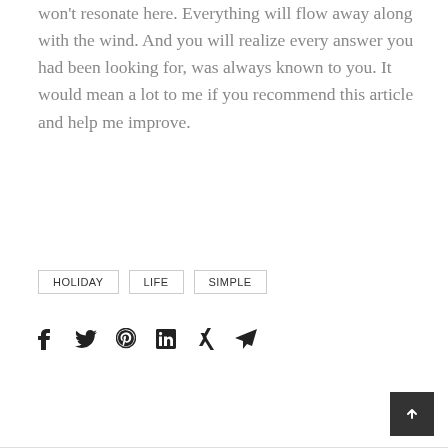won't resonate here. Everything will flow away along with the wind. And you will realize every answer you had been looking for, was always known to you. It would mean a lot to me if you recommend this article and help me improve.
HOLIDAY
LIFE
SIMPLE
[Figure (other): Social sharing icons: Facebook, Twitter, Pinterest, LinkedIn, Xing, Email/Send]